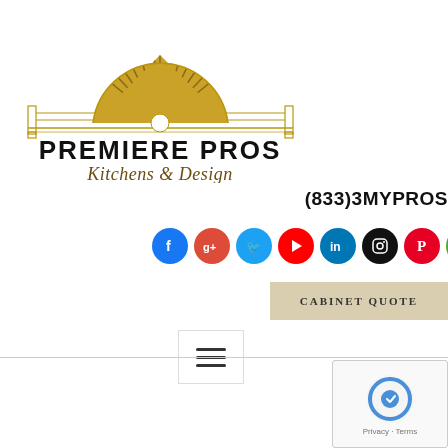[Figure (logo): Premiere Pros Kitchens & Design logo with golden sunburst semicircle fan design above text 'PREMIERE PROS Kitchens & Design']
(833)3MYPROS
[Figure (infographic): Row of social media icon circles: Facebook (blue), Google+ (red), Twitter (blue), YouTube (red), LinkedIn (blue), Instagram (black), Pinterest (red), Houzz (green)]
Cabinet Quote
[Figure (infographic): Hamburger menu icon with three horizontal lines inside a bordered box]
[Figure (infographic): reCAPTCHA widget with spinning arrows logo and Privacy - Terms text]